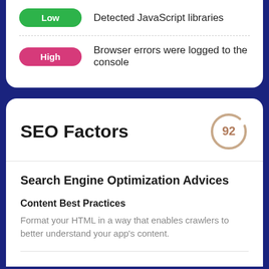Low — Detected JavaScript libraries
High — Browser errors were logged to the console
SEO Factors
[Figure (other): Circle score indicator showing 92]
Search Engine Optimization Advices
Content Best Practices
Format your HTML in a way that enables crawlers to better understand your app's content.